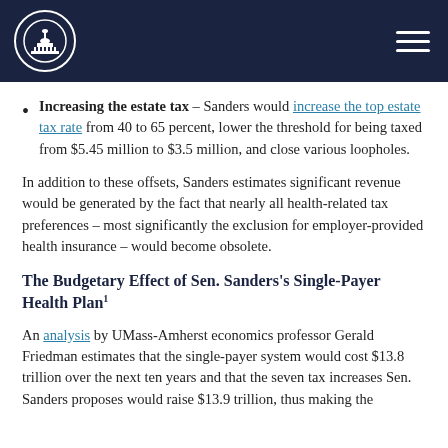[Logo: Capitol building in circle] [Hamburger menu icon]
Increasing the estate tax – Sanders would increase the top estate tax rate from 40 to 65 percent, lower the threshold for being taxed from $5.45 million to $3.5 million, and close various loopholes.
In addition to these offsets, Sanders estimates significant revenue would be generated by the fact that nearly all health-related tax preferences – most significantly the exclusion for employer-provided health insurance – would become obsolete.
The Budgetary Effect of Sen. Sanders's Single-Payer Health Plan1
An analysis by UMass-Amherst economics professor Gerald Friedman estimates that the single-payer system would cost $13.8 trillion over the next ten years and that the seven tax increases Sen. Sanders proposes would raise $13.9 trillion, thus making the